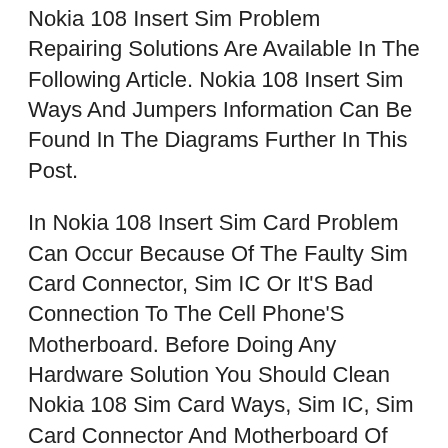Nokia 108 Insert Sim Problem Repairing Solutions Are Available In The Following Article. Nokia 108 Insert Sim Ways And Jumpers Information Can Be Found In The Diagrams Further In This Post.
In Nokia 108 Insert Sim Card Problem Can Occur Because Of The Faulty Sim Card Connector, Sim IC Or It'S Bad Connection To The Cell Phone'S Motherboard. Before Doing Any Hardware Solution You Should Clean Nokia 108 Sim Card Ways, Sim IC, Sim Card Connector And Motherboard Of The Mobile Phone. If Cleaning Does Not Work Then You Can Replace The Sim Card Connector And Sim IC.
Please Note That We Will Edit These Solutio…